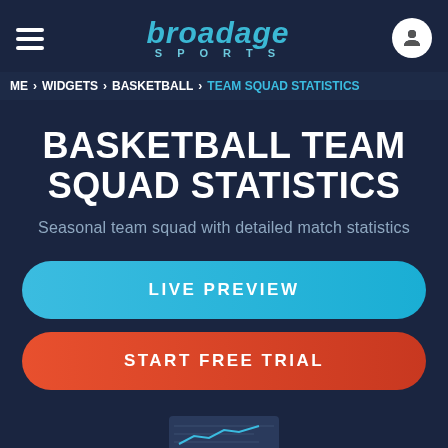broadage SPORTS
ME > WIDGETS > BASKETBALL > TEAM SQUAD STATISTICS
BASKETBALL TEAM SQUAD STATISTICS
Seasonal team squad with detailed match statistics
LIVE PREVIEW
START FREE TRIAL
[Figure (screenshot): Partial widget preview thumbnail at bottom of page]